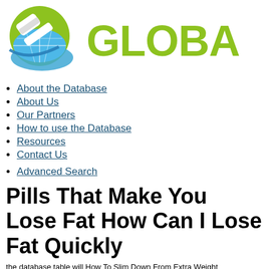[Figure (logo): Globe with gavel logo (green and blue) next to partial text 'GLOBA' in olive/green color]
About the Database
About Us
Our Partners
How to use the Database
Resources
Contact Us
Advanced Search
Pills That Make You Lose Fat How Can I Lose Fat Quickly
the database table will How To Slim Down From Within